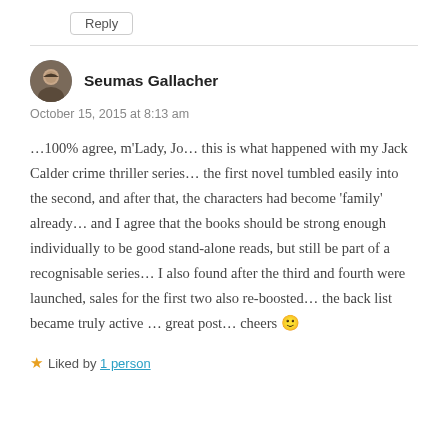Reply
Seumas Gallacher
October 15, 2015 at 8:13 am
…100% agree, m'Lady, Jo… this is what happened with my Jack Calder crime thriller series… the first novel tumbled easily into the second, and after that, the characters had become 'family' already… and I agree that the books should be strong enough individually to be good stand-alone reads, but still be part of a recognisable series… I also found after the third and fourth were launched, sales for the first two also re-boosted… the back list became truly active … great post… cheers 🙂
Liked by 1 person